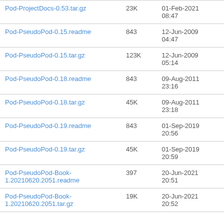| Pod-ProjectDocs-0.53.tar.gz | 23K | 01-Feb-2021 08:47 |
| Pod-PseudoPod-0.15.readme | 843 | 12-Jun-2009 04:47 |
| Pod-PseudoPod-0.15.tar.gz | 123K | 12-Jun-2009 05:14 |
| Pod-PseudoPod-0.18.readme | 843 | 09-Aug-2011 23:16 |
| Pod-PseudoPod-0.18.tar.gz | 45K | 09-Aug-2011 23:18 |
| Pod-PseudoPod-0.19.readme | 843 | 01-Sep-2019 20:56 |
| Pod-PseudoPod-0.19.tar.gz | 45K | 01-Sep-2019 20:59 |
| Pod-PseudoPod-Book-1.20210620.2051.readme | 397 | 20-Jun-2021 20:51 |
| Pod-PseudoPod-Book-1.20210620.2051.tar.gz | 19K | 20-Jun-2021 20:52 |